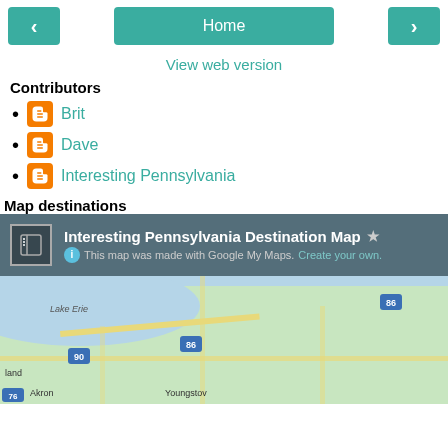< Home >
View web version
Contributors
Brit
Dave
Interesting Pennsylvania
Map destinations
[Figure (map): Interesting Pennsylvania Destination Map — Google My Maps showing Pennsylvania and surrounding region with numerous red map pin markers across the state. Map shows Lake Erie, Akron, Youngstown, highway markers 86, 90, 76.]